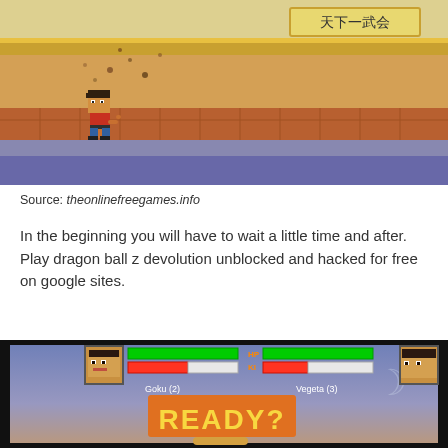[Figure (screenshot): Dragon Ball Z game screenshot showing a pixel-art character on a stage with a Chinese-style building in the background, brick walls, and a tiled ground. Sign reads 天下一武会 (Tenkaichi Budokai).]
Source: theonlinefreegames.info
In the beginning you will have to wait a little time and after. Play dragon ball z devolution unblocked and hacked for free on google sites.
[Figure (screenshot): Dragon Ball Z Devolution game screenshot showing the READY? screen with Goku (2) vs Vegeta (3) HUD showing HP and KI bars, and a moon symbol in the background.]